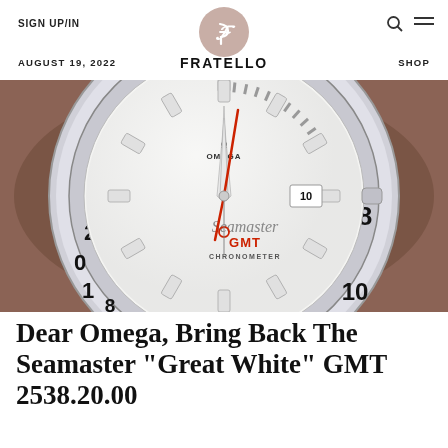SIGN UP/IN | FRATELLO | SHOP
AUGUST 19, 2022
[Figure (photo): Close-up photo of an Omega Seamaster GMT 'Great White' watch showing white dial with red GMT hand, bezel with hour markings, and Seamaster GMT Chronometer text]
Dear Omega, Bring Back The Seamaster “Great White” GMT 2538.20.00